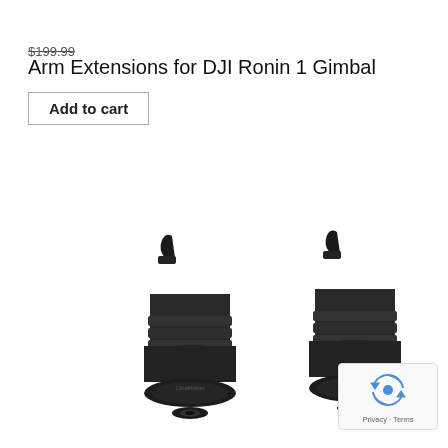$199.99
Arm Extensions for DJI Ronin 1 Gimbal
Add to cart
[Figure (photo): Two black CinaMaker arm extension units for DJI Ronin 1 Gimbal, photographed on white background. Each unit is a cylindrical black metal piece with a lever/arm attachment on top and a circular face with a central screw/bolt visible.]
[Figure (logo): reCAPTCHA badge with blue recycling-arrow icon and 'Privacy - Terms' text below.]